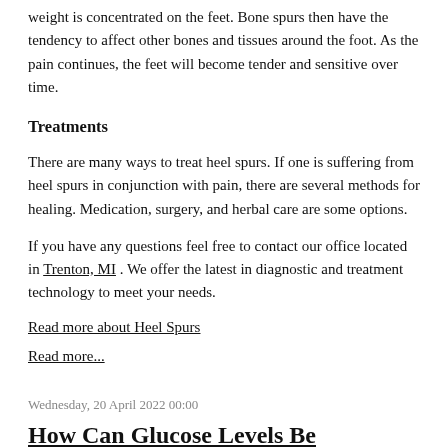weight is concentrated on the feet. Bone spurs then have the tendency to affect other bones and tissues around the foot. As the pain continues, the feet will become tender and sensitive over time.
Treatments
There are many ways to treat heel spurs. If one is suffering from heel spurs in conjunction with pain, there are several methods for healing. Medication, surgery, and herbal care are some options.
If you have any questions feel free to contact our office located in Trenton, MI . We offer the latest in diagnostic and treatment technology to meet your needs.
Read more about Heel Spurs
Read more...
Wednesday, 20 April 2022 00:00
How Can Glucose Levels Be